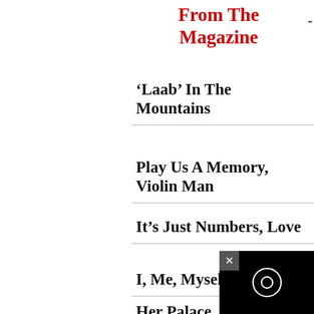From The Magazine
‘Laab’ In The Mountains
Play Us A Memory, Violin Man
It’s Just Numbers, Love
I, Me, Myself
Her Palace